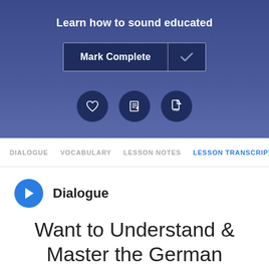Learn how to sound educated
[Figure (screenshot): Mark Complete button with checkmark icon on dark blue background]
[Figure (screenshot): Three icon circles: heart/favorite, notes/edit, PDF download icons]
DIALOGUE   VOCABULARY   LESSON NOTES   LESSON TRANSCRIPT
Dialogue
Want to Understand & Master the German Dialogue 100%?